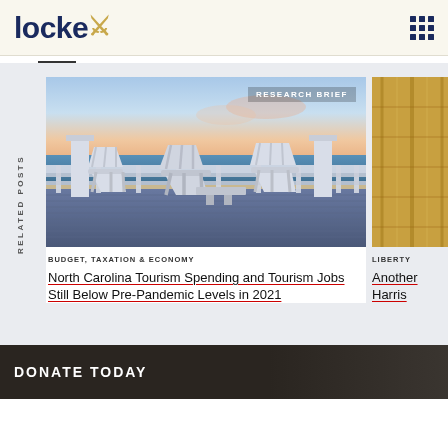locke
RELATED POSTS
[Figure (photo): Beach deck with white Adirondack chairs overlooking the ocean at sunset. Badge reads RESEARCH BRIEF.]
BUDGET, TAXATION & ECONOMY
North Carolina Tourism Spending and Tourism Jobs Still Below Pre-Pandemic Levels in 2021
LIBERTY
Another Harris
DONATE TODAY